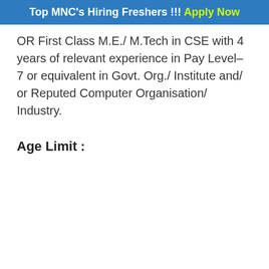Top MNC's Hiring Freshers !!! Apply Now
OR First Class M.E./ M.Tech in CSE with 4 years of relevant experience in Pay Level– 7 or equivalent in Govt. Org./ Institute and/ or Reputed Computer Organisation/ Industry.
Age Limit :